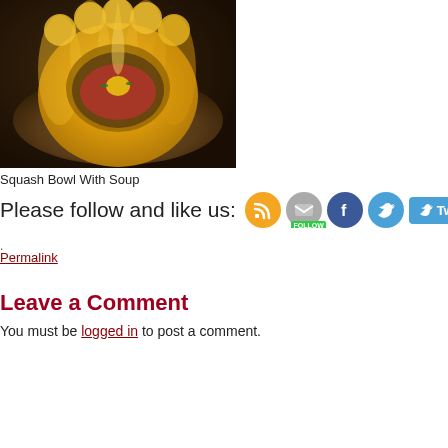[Figure (photo): Photo of a squash bowl filled with colorful soup and garnishes, placed on a rustic wooden plate]
Squash Bowl With Soup
Please follow and like us:
Permalink
Leave a Comment
You must be logged in to post a comment.